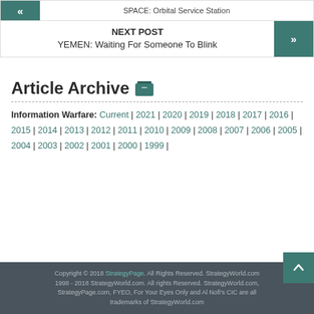SPACE: Orbital Service Station
NEXT POST
YEMEN: Waiting For Someone To Blink
Article Archive
Information Warfare: Current | 2021 | 2020 | 2019 | 2018 | 2017 | 2016 | 2015 | 2014 | 2013 | 2012 | 2011 | 2010 | 2009 | 2008 | 2007 | 2006 | 2005 | 2004 | 2003 | 2002 | 2001 | 2000 | 1999 |
Copyright © 2018 StrategyPage. All Rights Reserved. StrategyWorld.com 1998 - 2018 StrategyWorld.com. All rights Reserved. StrategyWorld.com, StrategyPage.com, FYEO, For Your Eyes Only and Al Nofi's CIC are all trademarks of StrategyWorld.com